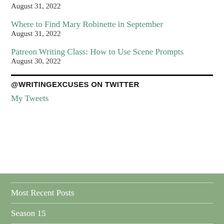August 31, 2022
Where to Find Mary Robinette in September
August 31, 2022
Patreon Writing Class: How to Use Scene Prompts
August 30, 2022
@WRITINGEXCUSES ON TWITTER
My Tweets
Most Recent Posts
Season 15